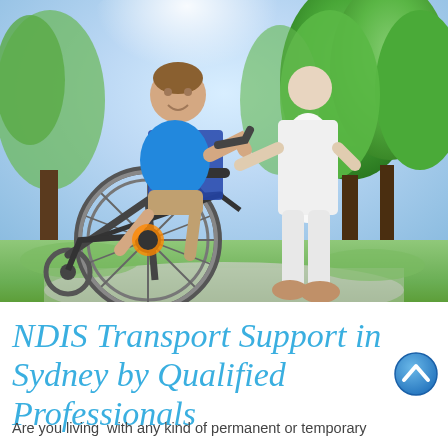[Figure (photo): A person in a wheelchair being pushed by a healthcare professional in white clothing. They are outdoors on a sunny day in a park with green trees in the background. The wheelchair user is a young man wearing a blue shirt, smiling and looking up.]
NDIS Transport Support in Sydney by Qualified Professionals
Are you living with any kind of permanent or temporary